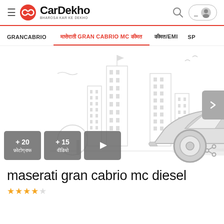CarDekho — BHAROSA KAR KE DEKHO
GRANCABRIO  |  मासेराती GRAN CABRIO MC कीमत  |  कीमत/EMI  |  SP
[Figure (illustration): CarDekho car listing page showing a grey silhouette illustration of a sedan car against a cityscape background with buttons: +20 फ़ोटोग्राफ, +15 वीडियो, and a play button]
maserati gran cabrio mc diesel
Star rating: 4 out of 5 stars